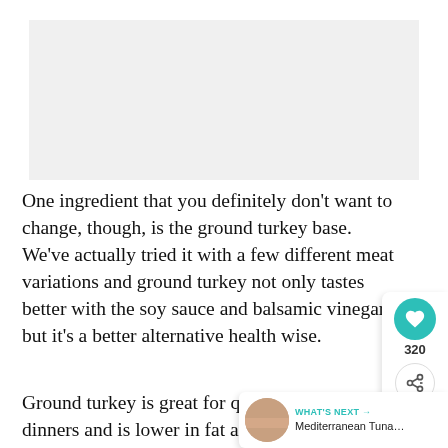[Figure (photo): Food photo placeholder at top of page]
One ingredient that you definitely don't want to change, though, is the ground turkey base. We've actually tried it with a few different meat variations and ground turkey not only tastes better with the soy sauce and balsamic vinegar, but it's a better alternative health wise.
Ground turkey is great for quick weeknight dinners and is lower in fat and calories than